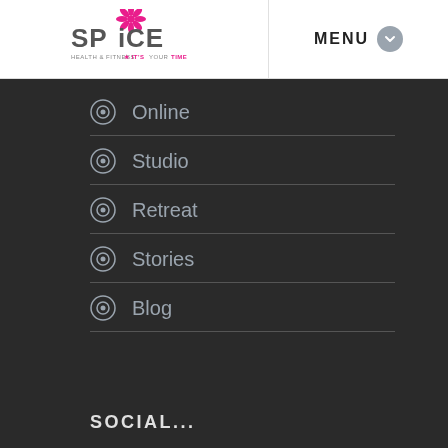[Figure (logo): SPICE Health & Fitness logo with pink flower icon and tagline IT'S YOUR TIME]
MENU
Online
Studio
Retreat
Stories
Blog
SOCIAL...